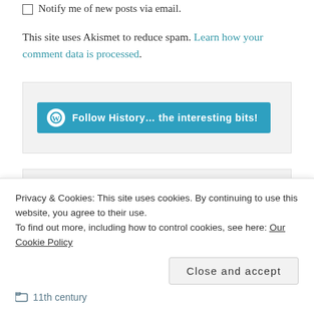☐ Notify me of new posts via email.
This site uses Akismet to reduce spam. Learn how your comment data is processed.
[Figure (other): WordPress Follow button: 'Follow History… the interesting bits!' in teal/blue color with WordPress logo icon]
WELCOME
Welcome to History… the interesting bits (partially visible, obscured by cookie banner)
Privacy & Cookies: This site uses cookies. By continuing to use this website, you agree to their use.
To find out more, including how to control cookies, see here: Our Cookie Policy
Close and accept
11th century